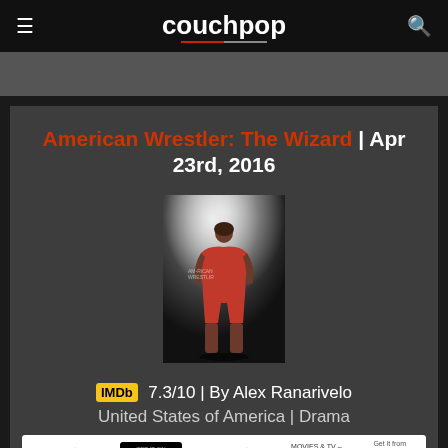couchpop
American Wrestler: The Wizard | Apr 23rd, 2016
[Figure (photo): Movie poster for American Wrestler: The Wizard showing a wrestler from behind in a red singlet under a spotlight]
IMDb 7.3/10 | By Alex Ranarivelo
United States of America | Drama
amazon video | GET IT ON Google Play | amazon prime video | MOVIES & TV – VUDU | Get it from Microsoft